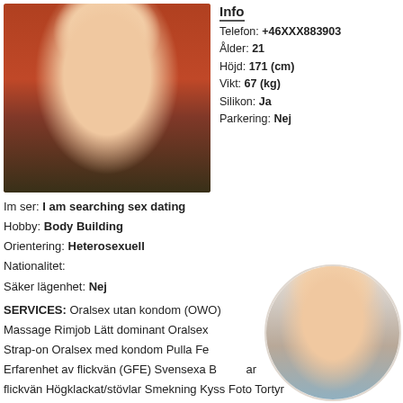[Figure (photo): Woman in red bikini top, blonde hair, seated]
Info
Telefon: +46XXX883903
Ålder: 21
Höjd: 171 (cm)
Vikt: 67 (kg)
Silikon: Ja
Parkering: Nej
Im ser: I am searching sex dating
Hobby: Body Building
Orientering: Heterosexuell
Nationalitet:
Säker lägenhet: Nej
SERVICES: Oralsex utan kondom (OWO) Massage Rimjob Lätt dominant Oralsex Strap-on Oralsex med kondom Pulla Fe Erfarenhet av flickvän (GFE) Svensexa B ar flickvän Högklackat/stövlar Smekning Kyss Foto Tortyr
[Figure (photo): Woman in white top, circular thumbnail]